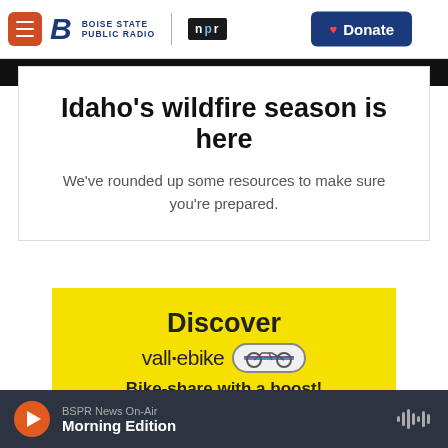Boise State Public Radio | NPR | Donate
Idaho's wildfire season is here
We've rounded up some resources to make sure you're prepared.
[Figure (infographic): Yellow advertisement banner for vall·ebike bike-share service. Text: Discover / vall·ebike [logo badge] / Bike-share with a boost!]
BSPR News On-Air Morning Edition